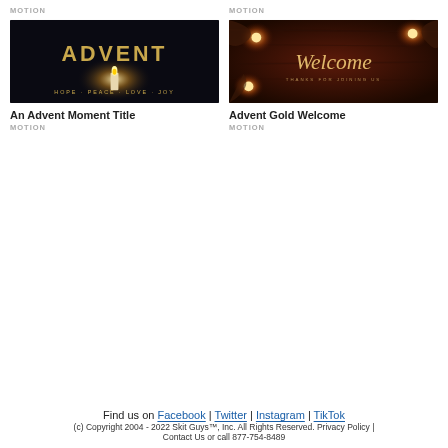MOTION
MOTION
[Figure (photo): Dark background with golden 'ADVENT' text and candle flame, subtitle 'HOPE · PEACE · LOVE · JOY']
[Figure (photo): Dark warm background with decorative lights and cursive 'Welcome' text, subtitle 'THANKS FOR JOINING US']
An Advent Moment Title
MOTION
Advent Gold Welcome
MOTION
Find us on Facebook | Twitter | Instagram | TikTok
(c) Copyright 2004 - 2022 Skit Guys™, Inc. All Rights Reserved. Privacy Policy |
Contact Us or call 877-754-8489